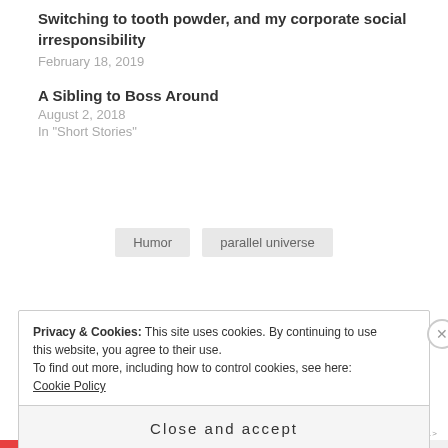Day 21 (Zero Waste) Extracting Menstrual Cups, Switching to tooth powder, and my corporate social irresponsibility
February 18, 2019
A Sibling to Boss Around
August 2, 2018
In "Short Stories"
Humor
parallel universe
Privacy & Cookies: This site uses cookies. By continuing to use this website, you agree to their use. To find out more, including how to control cookies, see here: Cookie Policy
Close and accept